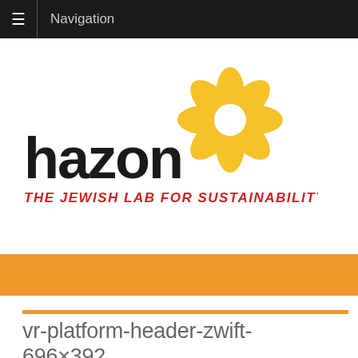Navigation
[Figure (logo): Hazon logo — bold black lowercase 'hazon' text with a golden yellow flower/starburst graphic above the 'zon' portion, and below the wordmark in red italic text: 'THE JEWISH LAB FOR SUSTAINABILITY']
vr-platform-header-zwift-696×392